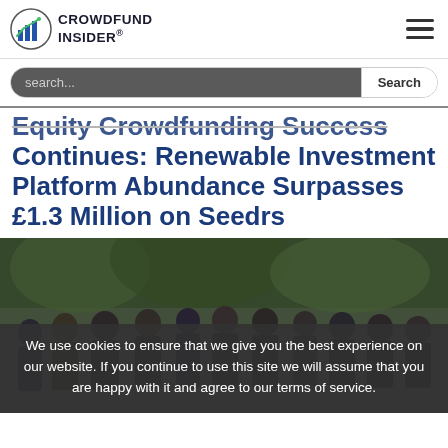CROWDFUND INSIDER
search...
Equity Crowdfunding Success Continues: Renewable Investment Platform Abundance Surpasses £1.3 Million on Seedrs
[Figure (photo): Group photo of Abundance team members standing outdoors under trees]
We use cookies to ensure that we give you the best experience on our website. If you continue to use this site we will assume that you are happy with it and agree to our terms of service.